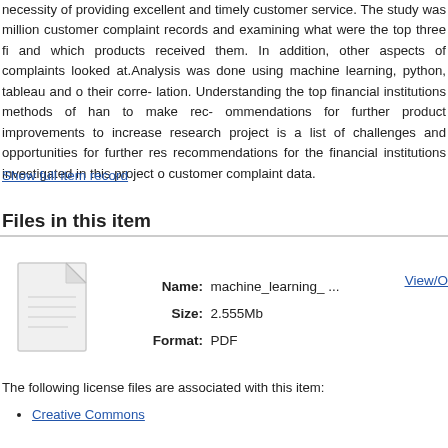necessity of providing excellent and timely customer service. The study was [based on] million customer complaint records and examining what were the top three fi[nancial institutions] and which products received them. In addition, other aspects of complaints [were] looked at.Analysis was done using machine learning, python, tableau and o[ther tools and] their corre- lation. Understanding the top financial institutions methods of han[dling complaints] to make rec- ommendations for further product improvements to increase [satisfaction. This] research project is a list of challenges and opportunities for further res[earch, and] recommendations for the financial institutions investigated in this project on [leveraging] customer complaint data.
Show full item record
Files in this item
[Figure (illustration): File icon representing a document/PDF file]
Name: machine_learning_ ...   Size: 2.555Mb   Format: PDF
View/O
The following license files are associated with this item:
Creative Commons